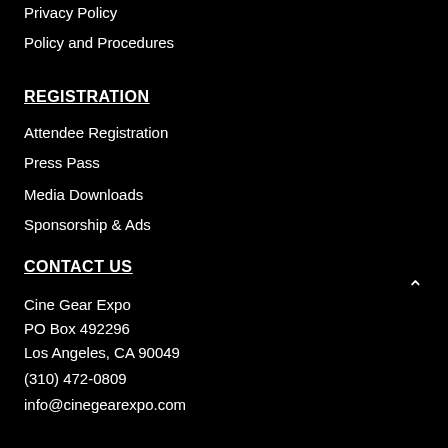Privacy Policy
Policy and Procedures
REGISTRATION
Attendee Registration
Press Pass
Media Downloads
Sponsorship & Ads
CONTACT US
Cine Gear Expo
PO Box 492296
Los Angeles, CA 90049
(310) 472-0809
info@cinegearexpo.com